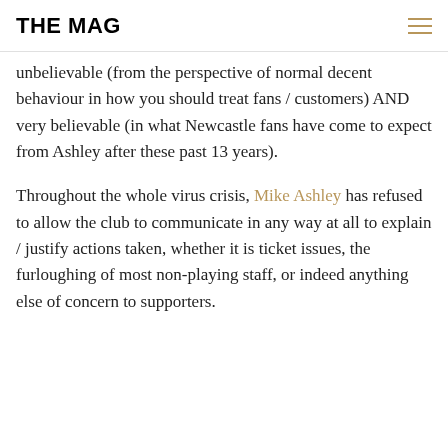THE MAG
unbelievable (from the perspective of normal decent behaviour in how you should treat fans / customers) AND very believable (in what Newcastle fans have come to expect from Ashley after these past 13 years).
Throughout the whole virus crisis, Mike Ashley has refused to allow the club to communicate in any way at all to explain / justify actions taken, whether it is ticket issues, the furloughing of most non-playing staff, or indeed anything else of concern to supporters.